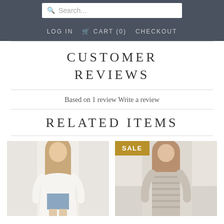Search... | LOG IN  CART (0)  CHECKOUT
CUSTOMER REVIEWS
Based on 1 review Write a review
RELATED ITEMS
[Figure (photo): Two fashion product photos side by side. Left: woman in white blazer and denim shorts. Right: woman in beige/gray striped sweater with SALE badge overlay.]